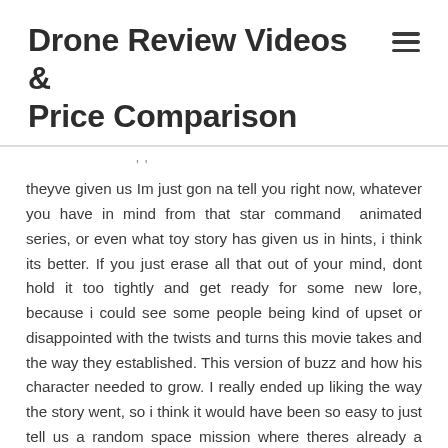Drone Review Videos & Price Comparison
theyve given us Im just gon na tell you right now, whatever you have in mind from that star command animated series, or even what toy story has given us in hints, i think its better. If you just erase all that out of your mind, dont hold it too tightly and get ready for some new lore, because i could see some people being kind of upset or disappointed with the twists and turns this movie takes and the way they established. This version of buzz and how his character needed to grow. I really ended up liking the way the story went, so i think it would have been so easy to just tell us a random space mission where theres already a crew of a